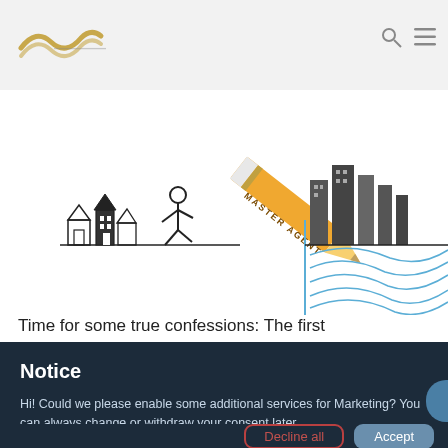Website header with logo and navigation icons
[Figure (illustration): Illustration of a stick figure walking from small houses on the left toward tall city buildings on the right, with a large pencil labeled MASTER AGENT drawn diagonally in the center. Blue lines extend from the city buildings to the right.]
Time for some true confessions: The first
Notice
Hi! Could we please enable some additional services for Marketing? You can always change or withdraw your consent later.
Learn More...
Decline all   Accept